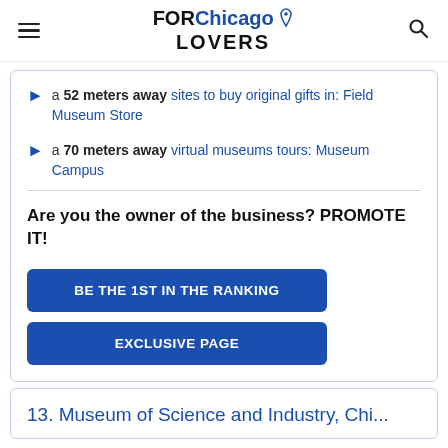FOR Chicago LOVERS
a 52 meters away sites to buy original gifts in: Field Museum Store
a 70 meters away virtual museums tours: Museum Campus
Are you the owner of the business? PROMOTE IT!
BE THE 1ST IN THE RANKING
EXCLUSIVE PAGE
13. Museum of Science and Industry, Chi...